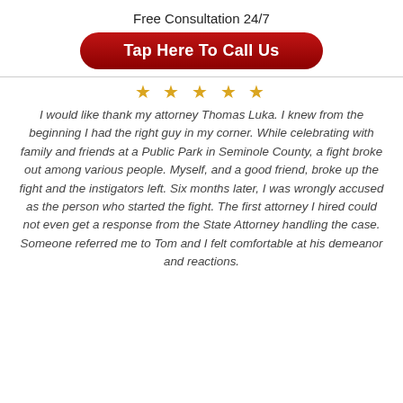Free Consultation 24/7
[Figure (other): Red rounded button with white bold text: Tap Here To Call Us]
[Figure (other): Five gold star rating icons]
I would like thank my attorney Thomas Luka. I knew from the beginning I had the right guy in my corner. While celebrating with family and friends at a Public Park in Seminole County, a fight broke out among various people. Myself, and a good friend, broke up the fight and the instigators left. Six months later, I was wrongly accused as the person who started the fight. The first attorney I hired could not even get a response from the State Attorney handling the case. Someone referred me to Tom and I felt comfortable at his demeanor and reactions.